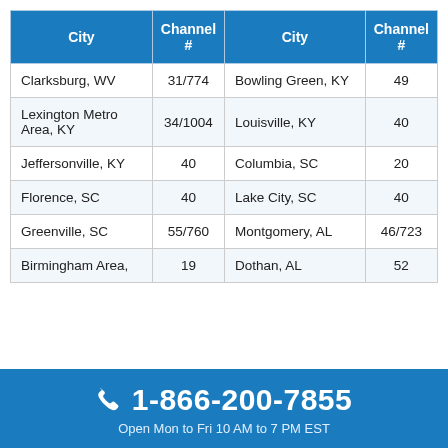| City | Channel # | City | Channel # |
| --- | --- | --- | --- |
| Clarksburg, WV | 31/774 | Bowling Green, KY | 49 |
| Lexington Metro Area, KY | 34/1004 | Louisville, KY | 40 |
| Jeffersonville, KY | 40 | Columbia, SC | 20 |
| Florence, SC | 40 | Lake City, SC | 40 |
| Greenville, SC | 55/760 | Montgomery, AL | 46/723 |
| Birmingham Area, | 19 | Dothan, AL | 52 |
☎ 1-866-200-7855
Open Mon to Fri 10 AM to 7 PM EST